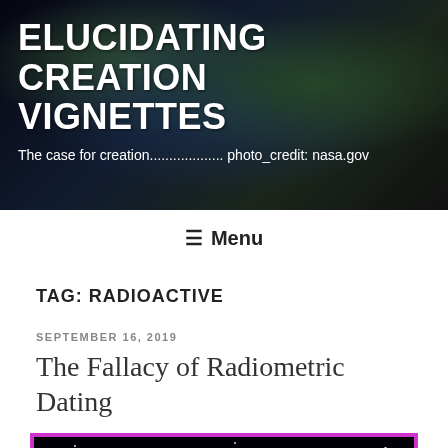ELUCIDATING CREATION VIGNETTES
The case for creation............... photo_credit: nasa.gov
≡ Menu
TAG: RADIOACTIVE
SEPTEMBER 16, 2019
The Fallacy of Radiometric Dating
[Figure (photo): Image of a spiral galaxy with bright core, blue spiral arms, and star field on black background, enclosed in a magenta/purple border.]